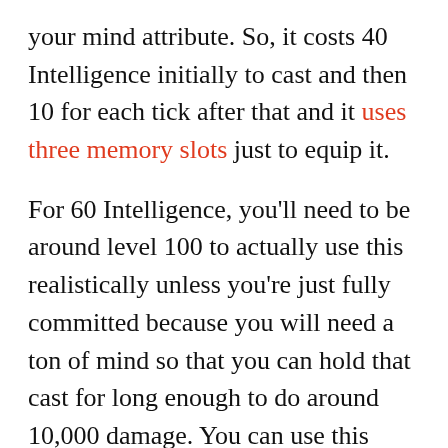your mind attribute. So, it costs 40 Intelligence initially to cast and then 10 for each tick after that and it uses three memory slots just to equip it.
For 60 Intelligence, you'll need to be around level 100 to actually use this realistically unless you're just fully committed because you will need a ton of mind so that you can hold that cast for long enough to do around 10,000 damage. You can use this spell before level 100 only if you take away everything except for Intelligence and Mind.
The spell can easily destroy the bosses in PvE but for PvP, using a Comet Azur spell is not